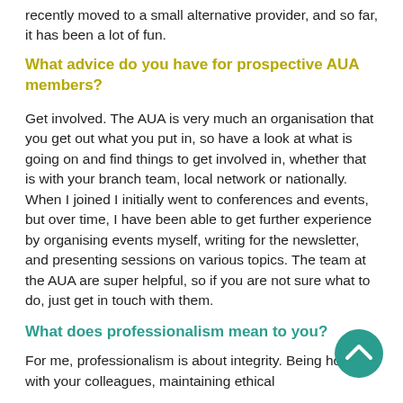recently moved to a small alternative provider, and so far, it has been a lot of fun.
What advice do you have for prospective AUA members?
Get involved. The AUA is very much an organisation that you get out what you put in, so have a look at what is going on and find things to get involved in, whether that is with your branch team, local network or nationally. When I joined I initially went to conferences and events, but over time, I have been able to get further experience by organising events myself, writing for the newsletter, and presenting sessions on various topics. The team at the AUA are super helpful, so if you are not sure what to do, just get in touch with them.
What does professionalism mean to you?
For me, professionalism is about integrity. Being honest with your colleagues, maintaining ethical